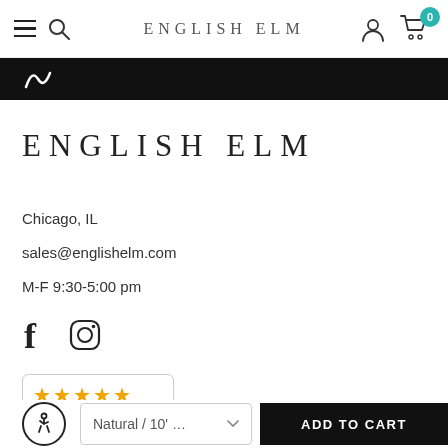ENGLISH ELM — navigation bar with hamburger menu, search, logo, user icon, cart (0)
[Figure (screenshot): Black banner with partial white logo/icon visible]
ENGLISH ELM
Chicago, IL
sales@englishelm.com
M-F 9:30-5:00 pm
[Figure (illustration): Social media icons: Facebook (f) and Instagram (camera)]
[Figure (other): Ratings widget: 4 orange stars, englishelm.com, 22,290 Ratings & Reviews]
[Figure (other): Accessibility icon (wheelchair symbol in circle), Natural / 10' dropdown button, ADD TO CART black button]